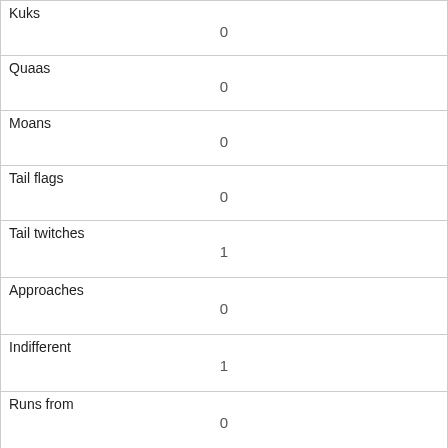| Kuks | 0 |
| Quaas | 0 |
| Moans | 0 |
| Tail flags | 0 |
| Tail twitches | 1 |
| Approaches | 0 |
| Indifferent | 1 |
| Runs from | 0 |
| Other Interactions |  |
| Lat/Long | POINT (-73.9771696835698 40.7697011100487) |